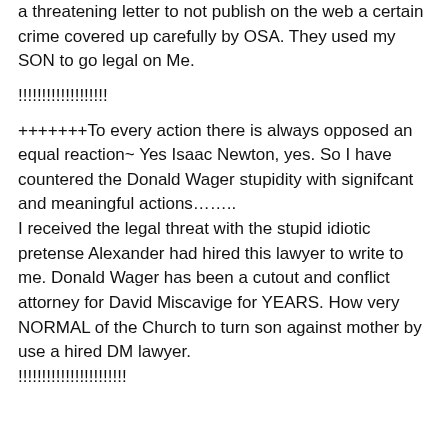a threatening letter to not publish on the web a certain crime covered up carefully by OSA. They used my SON to go legal on Me.
!!!!!!!!!!!!!!!!!!!
+++++++To every action there is always opposed an equal reaction~ Yes Isaac Newton, yes. So I have countered the Donald Wager stupidity with signifcant and meaningful actions……..
I received the legal threat with the stupid idiotic pretense Alexander had hired this lawyer to write to me. Donald Wager has been a cutout and conflict attorney for David Miscavige for YEARS. How very NORMAL of the Church to turn son against mother by use a hired DM lawyer.
!!!!!!!!!!!!!!!!!!!!!!